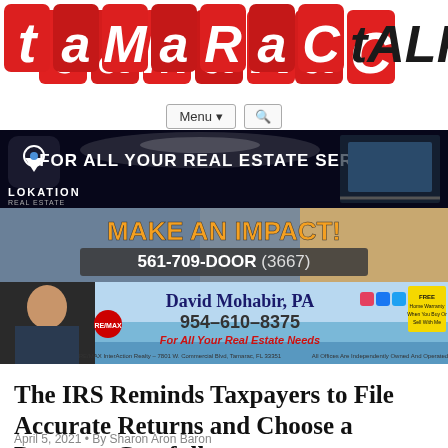[Figure (logo): Tamarac Talk logo — colorful block letters on red squares]
[Figure (screenshot): Navigation bar with Menu dropdown and search icon buttons]
[Figure (infographic): Lokation Real Estate advertisement banner: FOR ALL YOUR REAL ESTATE SERVICES]
[Figure (infographic): Make An Impact advertisement: MAKE AN IMPACT 561-709-DOOR (3667)]
[Figure (infographic): David Mohabir PA RE/MAX advertisement: 954-610-8375, For All Your Real Estate Needs]
The IRS Reminds Taxpayers to File Accurate Returns and Choose a Preparer Carefully
April 5, 2021 • By Sharon Aron Baron